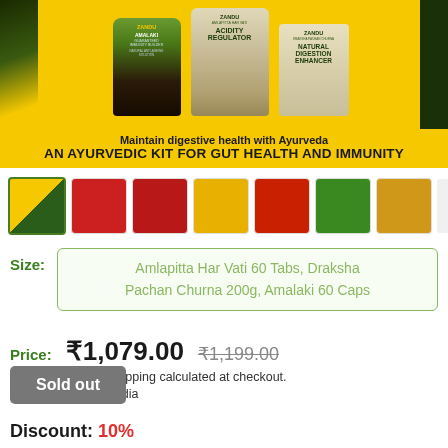[Figure (photo): Zandu Ayurvedic Kit product banner showing three products: Amalaki (Guaranteed Immunity Builder), Amlapitta Har Vati (Acidity Regulator), and Draksha Pachan Churna (Natural Digestion Enhancer) on yellow background with text 'Maintain digestive health with Ayurveda' and 'AN AYURVEDIC KIT FOR GUT HEALTH AND IMMUNITY']
[Figure (photo): Thumbnail gallery showing 7 product images]
Size:
Amlapitta Har Vati 60 Tabs, Draksha Pachan Churna 200g, Amalaki 60 Caps
Price:  ₹1,079.00  ₹1,199.00
(incl. of all taxes) Shipping calculated at checkout.
Country of Origin: India
Sold out
Discount: 10%